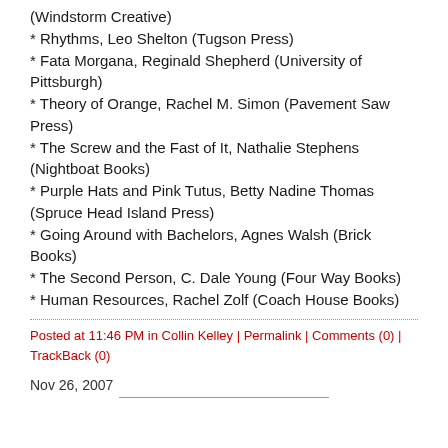(Windstorm Creative)
* Rhythms, Leo Shelton (Tugson Press)
* Fata Morgana, Reginald Shepherd (University of Pittsburgh)
* Theory of Orange, Rachel M. Simon (Pavement Saw Press)
* The Screw and the Fast of It, Nathalie Stephens (Nightboat Books)
* Purple Hats and Pink Tutus, Betty Nadine Thomas (Spruce Head Island Press)
* Going Around with Bachelors, Agnes Walsh (Brick Books)
* The Second Person, C. Dale Young (Four Way Books)
* Human Resources, Rachel Zolf (Coach House Books)
Posted at 11:46 PM in Collin Kelley | Permalink | Comments (0) | TrackBack (0)
Nov 26, 2007